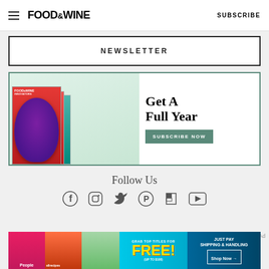FOOD & WINE  SUBSCRIBE
NEWSLETTER
[Figure (illustration): Food & Wine magazine subscription ad showing stacked magazine covers with a purple burger on the front cover, headline 'Get A Full Year', and a green 'SUBSCRIBE NOW' button]
Follow Us
[Figure (illustration): Social media icons: Facebook, Instagram, Twitter, Pinterest, Flipboard, YouTube]
[Figure (illustration): Advertisement banner showing People and allrecipes magazines with 'GRAB TOP TITLES FOR FREE! (UP TO $100)' and 'JUST PAY SHIPPING & HANDLING Shop Now' button]